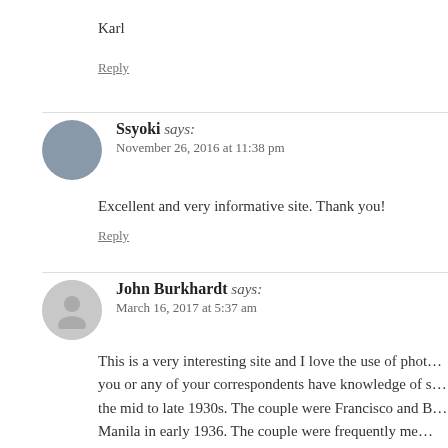Karl
Reply
Ssyoki says:
November 26, 2016 at 11:38 pm
Excellent and very informative site. Thank you!
Reply
John Burkhardt says:
March 16, 2017 at 5:37 am
This is a very interesting site and I love the use of phot… you or any of your correspondents have knowledge of s… the mid to late 1930s. The couple were Francisco and B… Manila in early 1936. The couple were frequently me…